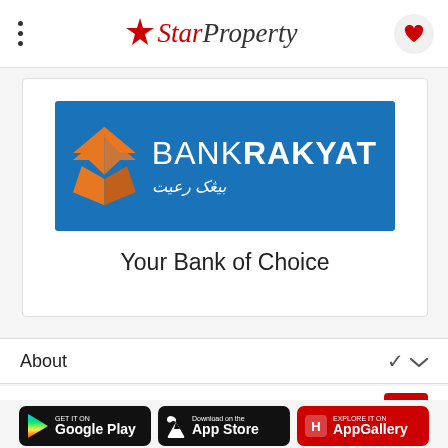StarProperty
[Figure (logo): Bank Rakyat banner logo on blue background with orange geometric logo icon, text BANKRAKYAT and Arabic script بيڠك رعيت]
Your Bank of Choice
About
Partner Links
[Figure (screenshot): Three app store badges: Get it on Google Play, Download on the App Store, Explore it on AppGallery]